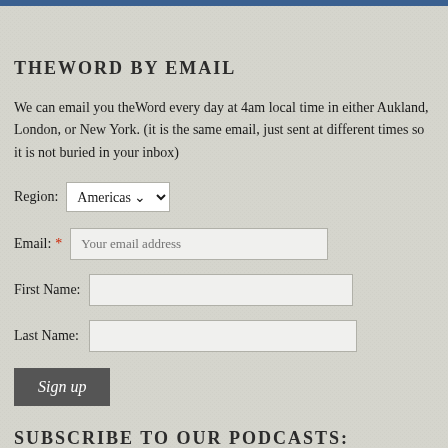THEWORD BY EMAIL
We can email you theWord every day at 4am local time in either Aukland, London, or New York. (it is the same email, just sent at different times so it is not buried in your inbox)
Region: Americas (dropdown)
Email: * Your email address (input field)
First Name: (input field)
Last Name: (input field)
Sign up (button)
SUBSCRIBE TO OUR PODCASTS:
Apple Podcasts | Android | Google Podcasts | Stitcher | RSS